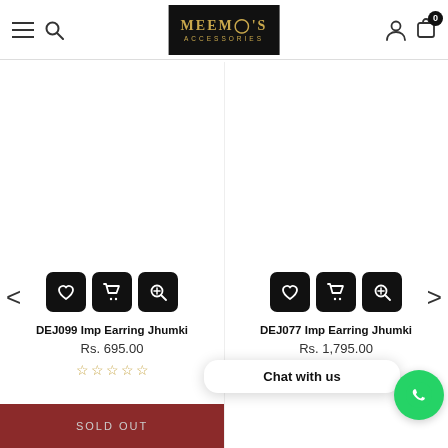Meemo's Accessories - Navigation Header
[Figure (screenshot): Product listing page for DEJ099 Imp Earring Jhumki and DEJ077 Imp Earring Jhumki on Meemo's Accessories e-commerce website]
DEJ099 Imp Earring Jhumki Rs. 695.00
DEJ077 Imp Earring Jhumki Rs. 1,795.00
SOLD OUT
Chat with us